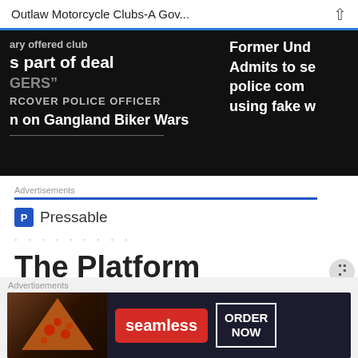Outlaw Motorcycle Clubs-A Gov...
[Figure (screenshot): Dark news banner showing partial headlines: 'ary offered club s part of deal', 'GERS"', 'RCOVER POLICE OFFICER', 'n on Gangland Biker Wars', and on the right: 'Former Und', 'Admits to s', 'police com', 'using fake w']
Advertisements
[Figure (logo): Pressable logo with blue P icon and text 'Pressable', followed by dots and 'The Platform Where WordPress']
Advertisements
[Figure (screenshot): Seamless food delivery advertisement banner showing pizza image, seamless red button, and ORDER NOW button]